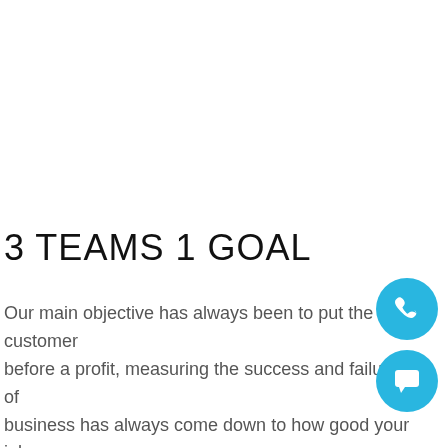3 TEAMS 1 GOAL
Our main objective has always been to put the customer before a profit, measuring the success and failure of business has always come down to how good your job is.
If we are not consistent in the quality of electrical, plumbing and...